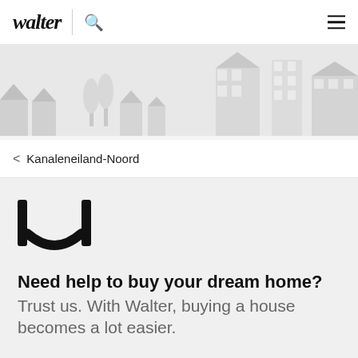walter
[Figure (illustration): Illustrated cityscape banner with silhouettes of houses, buildings, and trees in light gray tones]
< Kanaleneiland-Noord
[Figure (logo): Walter brand icon — stylized letter W made of two vertical bars with a curved connector, in black]
Need help to buy your dream home?
Trust us. With Walter, buying a house becomes a lot easier.